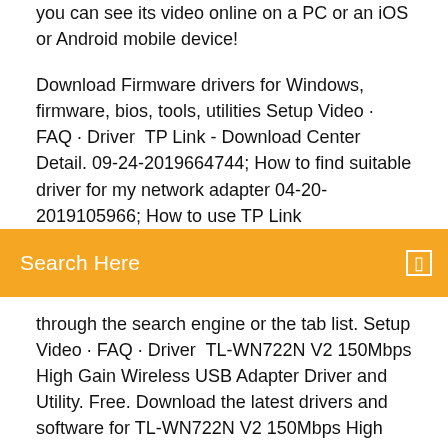you can see its video online on a PC or an iOS or Android mobile device!
Download Firmware drivers for Windows, firmware, bios, tools, utilities Setup Video · FAQ · Driver  TP Link - Download Center Detail. 09-24-2019664744; How to find suitable driver for my network adapter 04-20-2019105966; How to use TP Link
Search Here
through the search engine or the tab list. Setup Video · FAQ · Driver  TL-WN722N V2 150Mbps High Gain Wireless USB Adapter Driver and Utility. Free. Download the latest drivers and software for TL-WN722N V2 150Mbps High
this product's Support page at www.tp-link.com. WPS Progress⊠ Scan Active WPS AP PIN PBC Cancel WPS WPS Cancel WPS Cancel Fri 5:14 PM TP-Link_0903 TP-Link_0210 TP-Link_0001 TP-Link_XXXX Join Other Network WPS Open Wireless Utility USB-